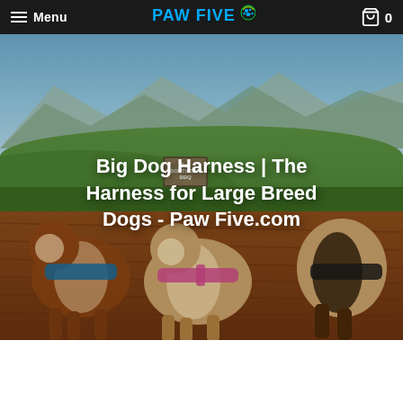Menu | PAW FIVE | 0
[Figure (photo): Large breed dogs (Saint Bernards) wearing harnesses standing on a red/brown wooden deck, with green rolling hills and mountains in the background under a blue sky. A sign reading 'Best Southern BBQ' is visible in the background.]
Big Dog Harness | The Harness for Large Breed Dogs - Paw Five.com